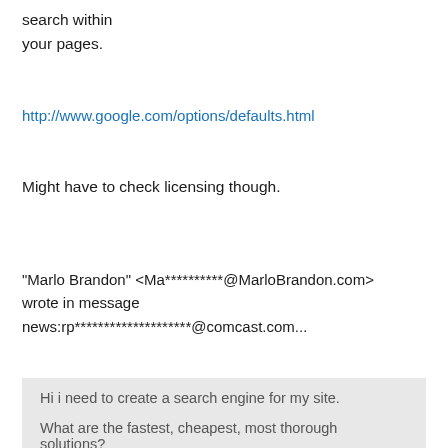search within
your pages.
http://www.google.com/options/defaults.html
Might have to check licensing though.
"Marlo Brandon" <Ma**********@MarloBrandon.com> wrote in message news:rp********************@comcast.com...
Hi i need to create a search engine for my site.

What are the fastest, cheapest, most thorough solutions?
Out of the box?
Coding?